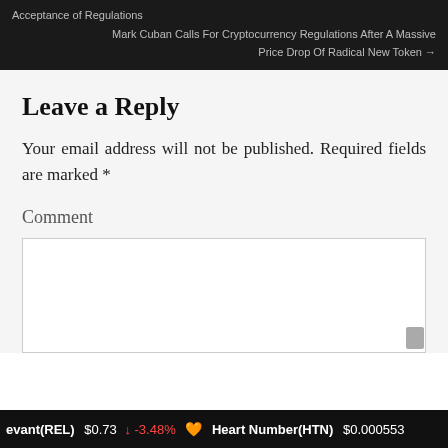Acceptance of Regulations
Mark Cuban Calls For Cryptocurrency Regulations After A Massive Price Drop Of Radical New Token →
Leave a Reply
Your email address will not be published. Required fields are marked *
Comment
evant(REL) $0.73 ↓ -3.48% 🧡 Heart Number(HTN) $0.000553